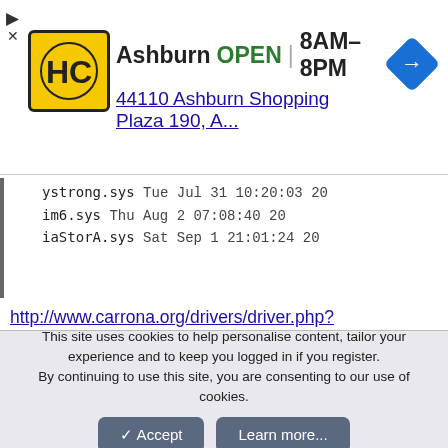[Figure (other): Advertisement banner for Hairclub Ashburn location. Shows HC logo (yellow/black), text 'Ashburn OPEN 8AM-8PM' and address '44110 Ashburn Shopping Plaza 190, A...' with a blue navigation arrow icon. Close buttons (triangle and X) on left.]
ystrong.sys   Tue Jul 31 10:20:03 20
im6.sys       Thu Aug  2 07:08:40 20
iaStorA.sys   Sat Sep  1 21:01:24 20
http://www.carrona.org/drivers/driver.php?id=vuhub.sys
http://www.carrona.org/drivers/driver.php?id=ASMMAP64.sys
http://www.carrona.org/drivers/driver.php?id=MBfilt64.sys
http://www.carrona.org/drivers/driver.php?
This site uses cookies to help personalise content, tailor your experience and to keep you logged in if you register.
By continuing to use this site, you are consenting to our use of cookies.